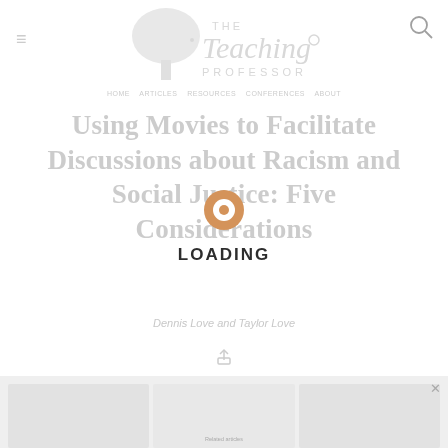The Teaching Professor
Using Movies to Facilitate Discussions about Racism and Social Justice: Five Considerations
Dennis Love and Taylor Love
[Figure (other): Loading spinner overlay with orange donut-shaped spinner and LOADING text]
[Figure (screenshot): Bottom preview strip showing partially visible content boxes]